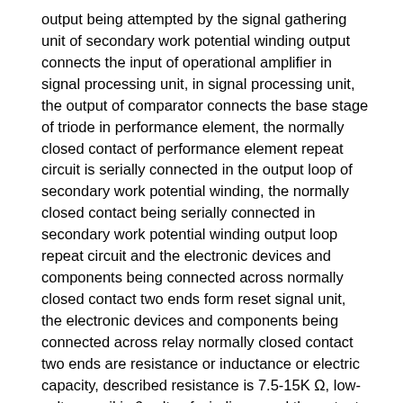output being attempted by the signal gathering unit of secondary work potential winding output connects the input of operational amplifier in signal processing unit, in signal processing unit, the output of comparator connects the base stage of triode in performance element, the normally closed contact of performance element repeat circuit is serially connected in the output loop of secondary work potential winding, the normally closed contact being serially connected in secondary work potential winding output loop repeat circuit and the electronic devices and components being connected across normally closed contact two ends form reset signal unit, the electronic devices and components being connected across relay normally closed contact two ends are resistance or inductance or electric capacity, described resistance is 7.5-15K Ω, low-voltage coil is 6 volts of windings, and the output of 6 volts of windings connects power circuit.
As shown in Figure 3, when voltage transformer once accesses 10kV or 35kV voltage, secondary side induces the alternating voltage of 100V, and be connected with the above-mentioned control unit arranged, secondary side 6V voltage is connected with the rectification circuit of control